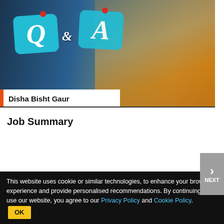[Figure (screenshot): Video thumbnail showing Q&A graphic with presenter Disha Bisht Gaur, wearing yellow top, with speech bubble icons for Q and A]
Job Summary
| Notification | GST & Central Excise, Chennai North Recruitment 2020 for Canteen Attendant Posts |
| Last Date of Submission | Jan 31, 2020 |
| City | Chennai |
This website uses cookie or similar technologies, to enhance your browsing experience and provide personalised recommendations. By continuing to use our website, you agree to our Privacy Policy and Cookie Policy. OK